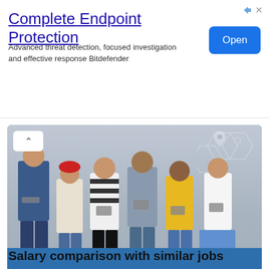Complete Endpoint Protection
Advanced threat detection, focused investigation and effective response Bitdefender
[Figure (screenshot): Blue 'Open' button for ad]
[Figure (photo): Photo of six young people standing against a concrete wall looking at their smartphones, with a blue banner overlay showing '21 High Paying Jobs That Don't Require a College Degree!' and a 'Check The List' button]
Salary comparison with similar jobs